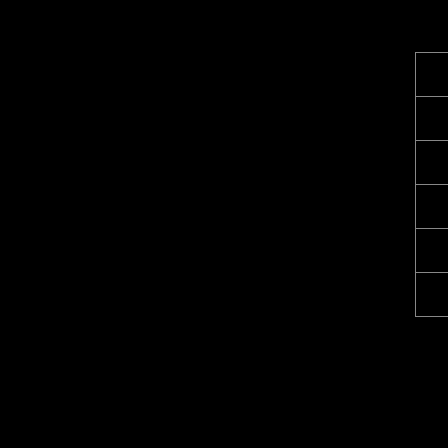| 9.00am |  |
| 9.30am |  |
| 11.00am |  |
| 12.00pm |  |
| 12.30pm | C |
| 2.00pm |  |
* Minimum
* Child below 12 y
* Exclus
* Above rate are s
w
* Surcharge of RM
Aidilf
** Depart from Kuala Besut jetty